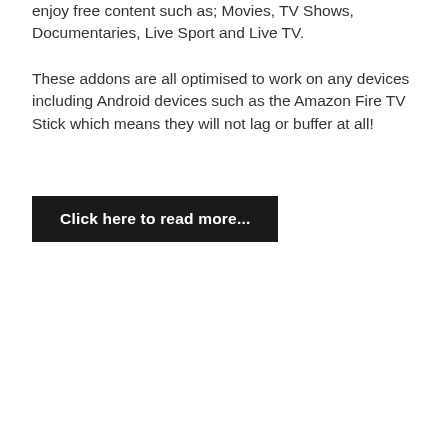enjoy free content such as; Movies, TV Shows, Documentaries, Live Sport and Live TV.
These addons are all optimised to work on any devices including Android devices such as the Amazon Fire TV Stick which means they will not lag or buffer at all!
Click here to read more...